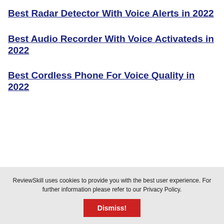Best Radar Detector With Voice Alerts in 2022
Best Audio Recorder With Voice Activateds in 2022
Best Cordless Phone For Voice Quality in 2022
ReviewSkill uses cookies to provide you with the best user experience. For further information please refer to our Privacy Policy.